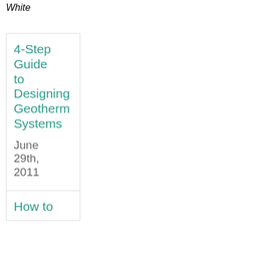White
4-Step Guide to Designing Geothermal Systems
June 29th, 2011
How to